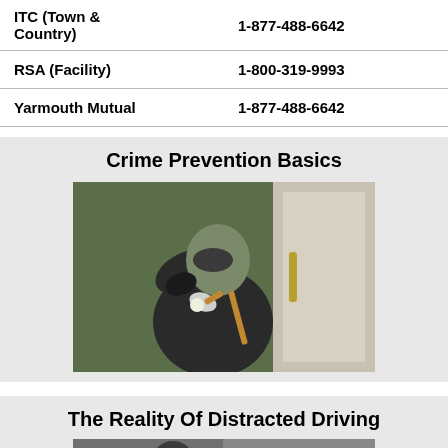| Company | Phone |
| --- | --- |
| ITC (Town & Country) | 1-877-488-6642 |
| RSA (Facility) | 1-800-319-9993 |
| Yarmouth Mutual | 1-877-488-6642 |
Crime Prevention Basics
[Figure (photo): A masked burglar in dark clothing holding a crowbar and flashlight, peering around a door]
The Reality Of Distracted Driving
[Figure (photo): A person in a car, partially visible, distracted driving scene]